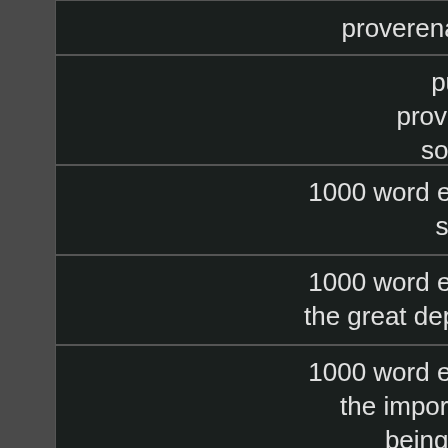proverena pujcka
pujcky od proverenyho soukromni
1000 word essay on speeding
1000 word essay on the great depression
1000 word essay on the importance of being on time
1000 word essay on the importance of following orders